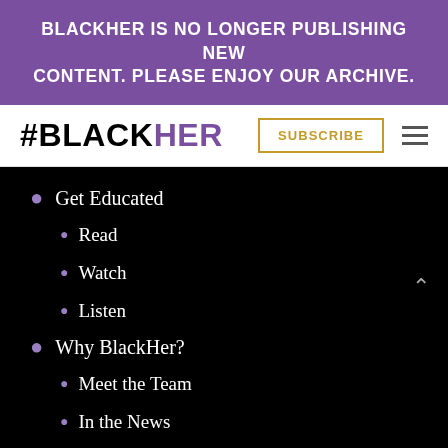BLACKHER IS NO LONGER PUBLISHING NEW CONTENT. PLEASE ENJOY OUR ARCHIVE.
[Figure (logo): #BLACKHER logo with black and purple text, Subscribe button, hamburger menu]
Get Educated
Read
Watch
Listen
Why BlackHer?
Meet the Team
In the News